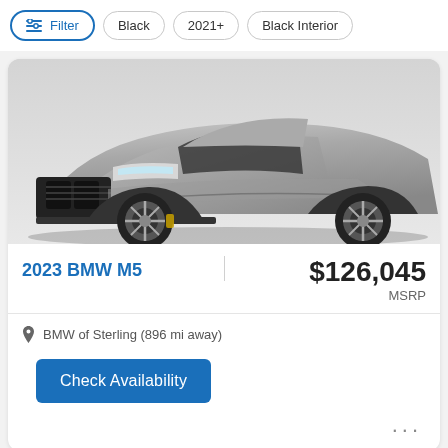Filter | Black | 2021+ | Black Interior
[Figure (photo): Front three-quarter view of a silver 2023 BMW M5 sedan on white background]
2023 BMW M5
$126,045 MSRP
BMW of Sterling (896 mi away)
Check Availability
New Listing